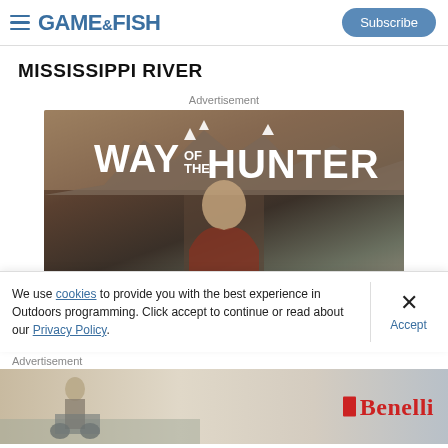GAME&FISH — Subscribe
MISSISSIPPI RIVER
Advertisement
[Figure (photo): Way of the Hunter video game advertisement banner showing a bearded man in hunting gear with mountain landscape and game title text]
We use cookies to provide you with the best experience in Outdoors programming. Click accept to continue or read about our Privacy Policy.
Advertisement
[Figure (photo): Benelli firearms advertisement showing a hunter with equipment in an outdoor landscape with the Benelli logo on the right]